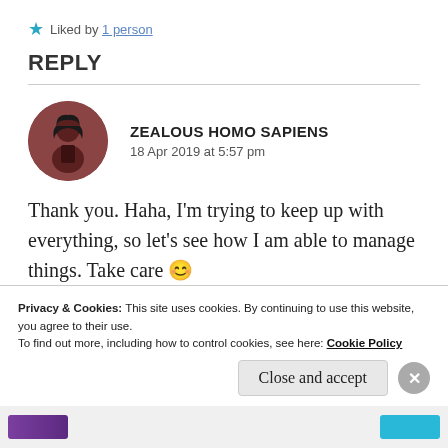★ Liked by 1 person
REPLY
ZEALOUS HOMO SAPIENS
18 Apr 2019 at 5:57 pm
Thank you. Haha, I'm trying to keep up with everything, so let's see how I am able to manage things. Take care 😊
Privacy & Cookies: This site uses cookies. By continuing to use this website, you agree to their use.
To find out more, including how to control cookies, see here: Cookie Policy
Close and accept